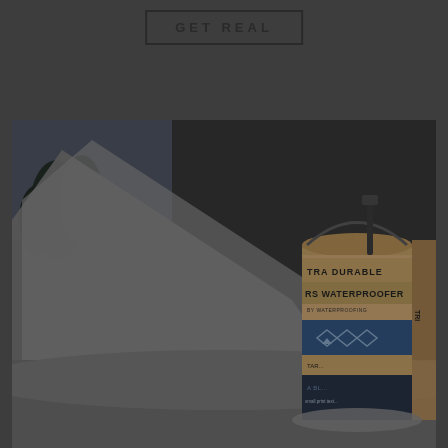GET REAL
[Figure (photo): Dark-toned outdoor scene showing a snow-covered tent with trees in the background and a can of 'Extra Durable Tenners Waterproofer' product placed in the snow in the foreground right side.]